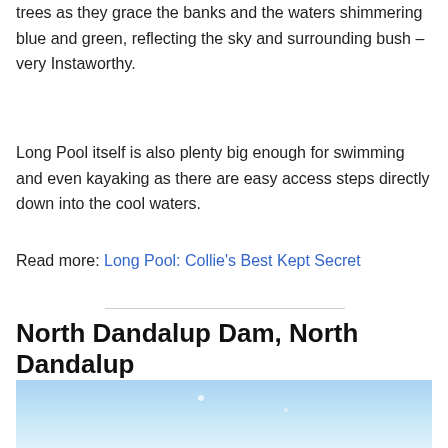trees as they grace the banks and the waters shimmering blue and green, reflecting the sky and surrounding bush – very Instaworthy.
Long Pool itself is also plenty big enough for swimming and even kayaking as there are easy access steps directly down into the cool waters.
Read more: Long Pool: Collie's Best Kept Secret
North Dandalup Dam, North Dandalup
[Figure (photo): Blue sky and water scene, partial view of North Dandalup Dam area, light blue tones]